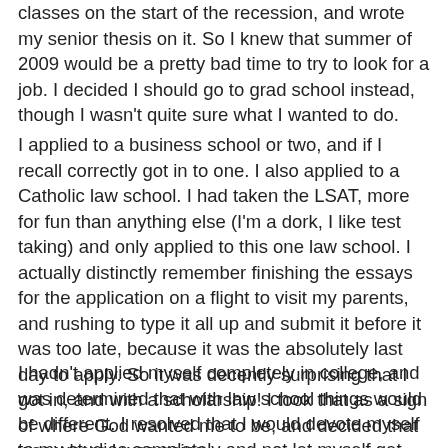classes on the start of the recession, and wrote my senior thesis on it. So I knew that summer of 2009 would be a pretty bad time to try to look for a job.  I decided I should go to grad school instead, though I wasn't quite sure what I wanted to do.
I applied to a business school or two, and if I recall correctly got in to one.  I also applied to a Catholic law school.  I had taken the LSAT, more for fun than anything else (I'm a dork, I like test taking) and only applied to this one law school.  I actually distinctly remember finishing the essays for the application on a flight to visit my parents, and rushing to type it all up and submit it before it was too late, because it was the absolutely last day to apply.  So it was decently surprising that I got in, and with a scholarship!  I took that as a sign of where God wanted me to be, and decided that was where I was going.
I hadn't applied myself completely in college, and was determined that with law school things would be different.  I resolved that I would devote myself to my studies completely and not let myself get distracted by anything trivial, like